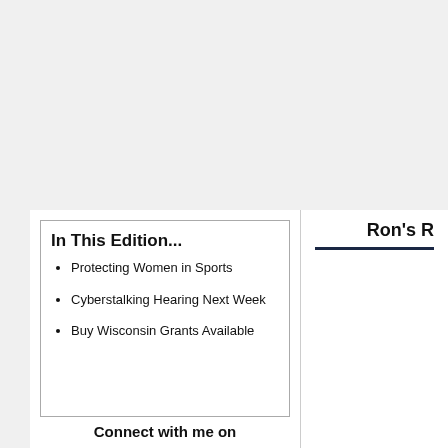In This Edition...
Protecting Women in Sports
Cyberstalking Hearing Next Week
Buy Wisconsin Grants Available
Connect with me on
[Figure (logo): Facebook logo button — blue rounded rectangle with white 'f' lettermark]
Ron's R